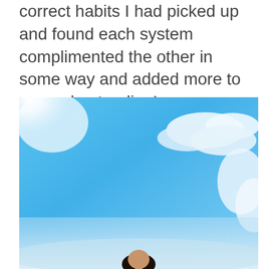correct habits I had picked up and found each system complimented the other in some way and added more to my understanding!
[Figure (photo): Outdoor photo of a person (partially visible at bottom) against a bright blue sky with white clouds; strong sun glare visible on the upper left.]